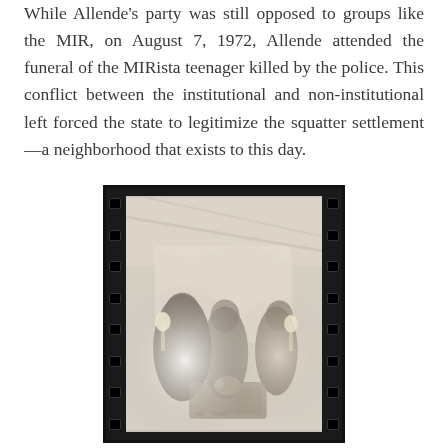While Allende's party was still opposed to groups like the MIR, on August 7, 1972, Allende attended the funeral of the MIRista teenager killed by the police. This conflict between the institutional and non-institutional left forced the state to legitimize the squatter settlement—a neighborhood that exists to this day.
[Figure (photo): Black and white photograph in a film strip frame showing a funeral scene with figures gathered around what appears to be a casket, candles visible, and draped fabric in the background. The image has a light, overexposed quality.]